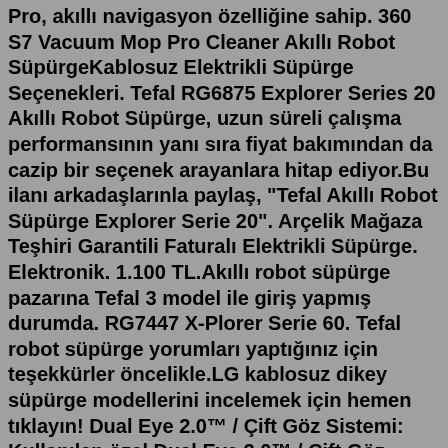Pro, akıllı navigasyon özelliğine sahip. 360 S7 Vacuum Mop Pro Cleaner Akıllı Robot SüpürgeKablosuz Elektrikli Süpürge Seçenekleri. Tefal RG6875 Explorer Series 20 Akıllı Robot Süpürge, uzun süreli çalışma performansının yanı sıra fiyat bakımından da cazip bir seçenek arayanlara hitap ediyor.Bu ilanı arkadaşlarınla paylaş, "Tefal Akıllı Robot Süpürge Explorer Serie 20". Arçelik Mağaza Teşhiri Garantili Faturalı Elektrikli Süpürge. Elektronik. 1.100 TL.Akıllı robot süpürge pazarına Tefal 3 model ile giriş yapmış durumda. RG7447 X-Plorer Serie 60. Tefal robot süpürge yorumları yaptığınız için teşekkürler öncelikle.LG kablosuz dikey süpürge modellerini incelemek için hemen tıklayın! Dual Eye 2.0™ / Çift Göz Sistemi: Kullanılan özel Dual Eye 2.0™ / Çift Göz Sistemi sayesinde akıllı HOM-BOT karanlıkta bile...Ürüne ulaşmak ;https://www.evkur.com.tr/tefal-rg7675wh-robot-supurge-s75Ürün hakkında; Evcil hayvanı olanlar için akıllı ve güçlü bir robotSon ... Cimri.com'da yer